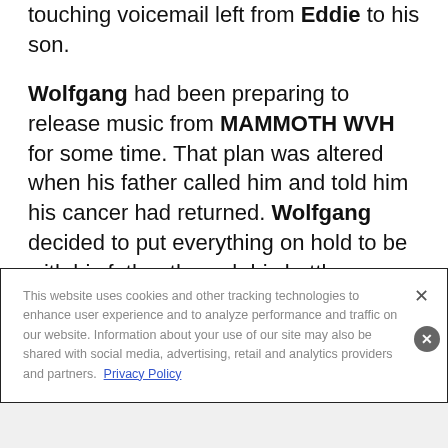touching voicemail left from Eddie to his son.
Wolfgang had been preparing to release music from MAMMOTH WVH for some time. That plan was altered when his father called him and told him his cancer had returned. Wolfgang decided to put everything on hold to be with his father through his battle.
This website uses cookies and other tracking technologies to enhance user experience and to analyze performance and traffic on our website. Information about your use of our site may also be shared with social media, advertising, retail and analytics providers and partners.  Privacy Policy